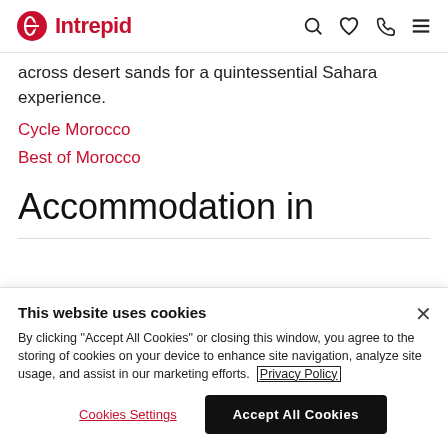Intrepid
across desert sands for a quintessential Sahara experience.
Cycle Morocco
Best of Morocco
Accommodation in
This website uses cookies
By clicking "Accept All Cookies" or closing this window, you agree to the storing of cookies on your device to enhance site navigation, analyze site usage, and assist in our marketing efforts. Privacy Policy
Cookies Settings  Accept All Cookies